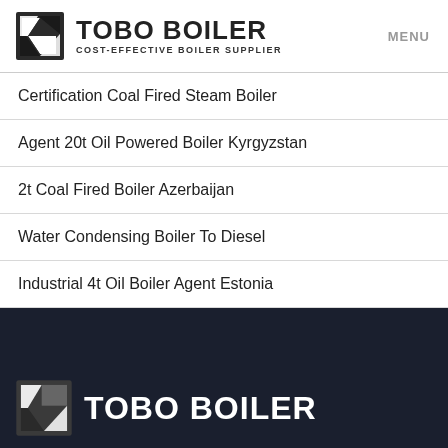TOBO BOILER COST-EFFECTIVE BOILER SUPPLIER | MENU
Certification Coal Fired Steam Boiler
Agent 20t Oil Powered Boiler Kyrgyzstan
2t Coal Fired Boiler Azerbaijan
Water Condensing Boiler To Diesel
Industrial 4t Oil Boiler Agent Estonia
[Figure (logo): Tobo Boiler logo on dark footer background]